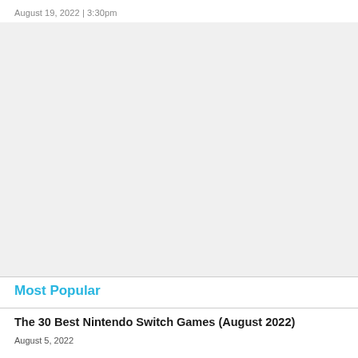August 19, 2022 | 3:30pm
[Figure (other): Gray placeholder box for an image or advertisement]
Most Popular
The 30 Best Nintendo Switch Games (August 2022)
August 5, 2022